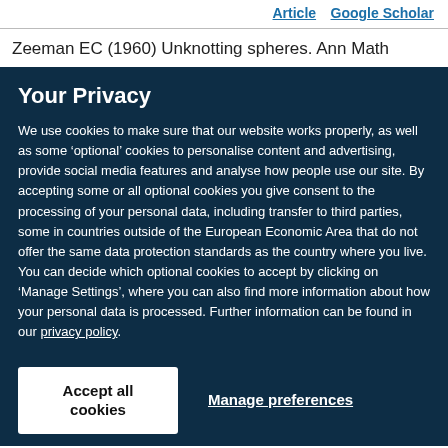Article   Google Scholar
Zeeman EC (1960) Unknotting spheres. Ann Math
Your Privacy
We use cookies to make sure that our website works properly, as well as some ‘optional’ cookies to personalise content and advertising, provide social media features and analyse how people use our site. By accepting some or all optional cookies you give consent to the processing of your personal data, including transfer to third parties, some in countries outside of the European Economic Area that do not offer the same data protection standards as the country where you live. You can decide which optional cookies to accept by clicking on ‘Manage Settings’, where you can also find more information about how your personal data is processed. Further information can be found in our privacy policy.
Accept all cookies
Manage preferences